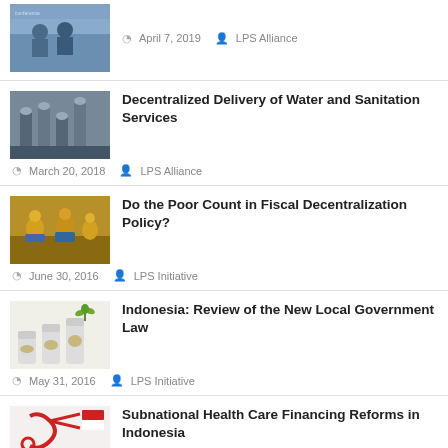[Figure (photo): Two people seated at a panel or conference]
April 7, 2019   LPS Alliance
[Figure (photo): Water pipes and sanitation infrastructure]
Decentralized Delivery of Water and Sanitation Services
March 20, 2018   LPS Alliance
[Figure (photo): Golden statues at a temple, likely Thai]
Do the Poor Count in Fiscal Decentralization Policy?
June 30, 2016   LPS Initiative
[Figure (photo): Jars with coins and a plant, representing savings or local government]
Indonesia: Review of the New Local Government Law
May 31, 2016   LPS Initiative
[Figure (photo): Stethoscope and Indonesian flag motif]
Subnational Health Care Financing Reforms in Indonesia